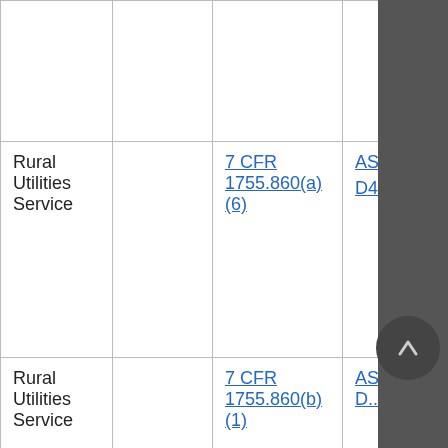|  |  |  |  |
| Rural Utilities Service |  | 7 CFR 1755.860(a)(6) | ASTM D4566... |
| Rural Utilities Service |  | 7 CFR 1755.860(b)(1) | ASTM D... |
| Rural Utilities |  | 7 CFR | ASTM |